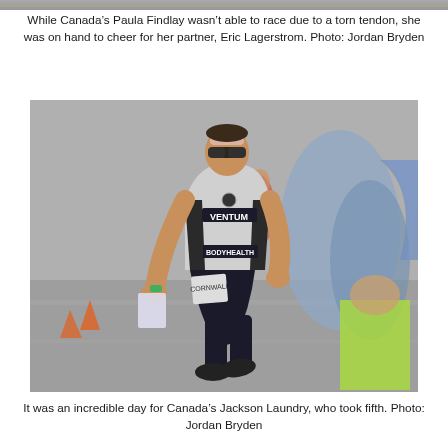[Figure (photo): Top strip of a photo (cropped) showing a triathlon scene]
While Canada’s Paula Findlay wasn’t able to race due to a torn tendon, she was on hand to cheer for her partner, Eric Lagerstrom. Photo: Jordan Bryden
[Figure (photo): A male triathlete (Eric Lagerstrom) running in a race wearing a black and white trisuit with VENTUM and BODYHEALTH logos, sunglasses, and a race bib. The background shows spectators and a road.]
It was an incredible day for Canada’s Jackson Laundry, who took fifth. Photo: Jordan Bryden